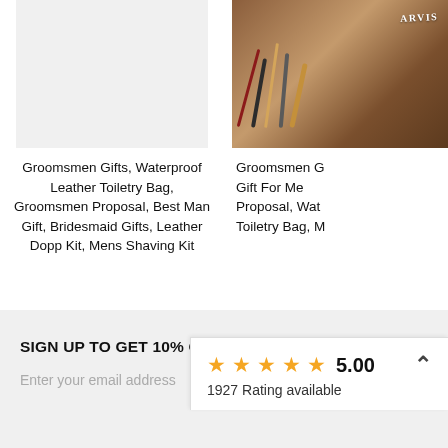[Figure (photo): Light gray placeholder product image for toiletry bag]
Groomsmen Gifts, Waterproof Leather Toiletry Bag, Groomsmen Proposal, Best Man Gift, Bridesmaid Gifts, Leather Dopp Kit, Mens Shaving Kit
0 (0 Reviews)
From $69.99
[Figure (photo): Brown leather toiletry bag with grooming tools, partially visible on right side]
Groomsmen G... Gift For Me... Proposal, Wat... Toiletry Bag, M...
From
SIGN UP TO GET 10% OFF
Enter your email address
5.00
1927 Rating available